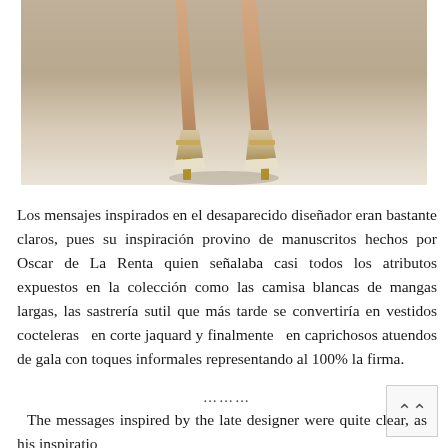[Figure (photo): Cropped fashion runway photo showing legs and feet of a model wearing high-heel shoes with ankle strap detail, on a light gray background]
Los mensajes inspirados en el desaparecido diseñador eran bastante claros, pues su inspiración provino de manuscritos hechos por Oscar de La Renta quien señalaba casi todos los atributos expuestos en la colección como las camisa blancas de mangas largas, las sastrería sutil que más tarde se convertiría en vestidos cocteleras  en corte jaquard y finalmente en caprichosos atuendos de gala con toques informales representando al 100% la firma.
The messages inspired by the late designer were quite clear, as his inspiratio